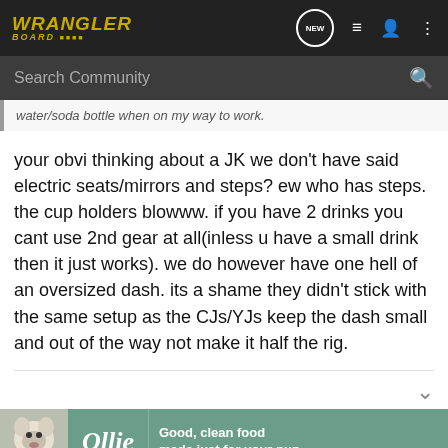WRANGLER BOARD
water/soda bottle when on my way to work.
your obvi thinking about a JK we don't have said electric seats/mirrors and steps? ew who has steps. the cup holders blowww. if you have 2 drinks you cant use 2nd gear at all(inless u have a small drink then it just works). we do however have one hell of an oversized dash. its a shame they didn't stick with the same setup as the CJs/YJs keep the dash small and out of the way not make it half the rig.
[Figure (screenshot): Ollie dog food advertisement banner at bottom of page]